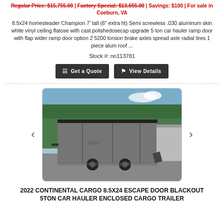Regular Price: $15,755.00 | Factory Special: $13,655.00 | Savings: $100 | For sale in Coeburn, VA
8.5x24 homesteader Champion 7' tall (6" extra ht) Semi screwless .030 aluminum skin white vinyl ceiling flatose with cast polishedosecap upgrade 5 ton car hauler ramp door with flap wider ramp door option 2 5200 torsion brake axles spread axle radial tires 1 piece alum roof ...
Stock #: nn113781
[Figure (photo): A large enclosed silver/grey cargo trailer with black accents parked on a gravel lot with trees in background. Another white trailer is partially visible to the right. Navigation arrows (< >) on left and right sides.]
2022 CONTINENTAL CARGO 8.5X24 ESCAPE DOOR BLACKOUT 5TON CAR HAULER ENCLOSED CARGO TRAILER